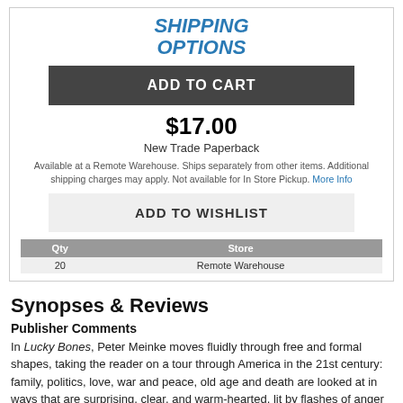SHIPPING OPTIONS
ADD TO CART
$17.00
New Trade Paperback
Available at a Remote Warehouse. Ships separately from other items. Additional shipping charges may apply. Not available for In Store Pickup. More Info
ADD TO WISHLIST
| Qty | Store |
| --- | --- |
| 20 | Remote Warehouse |
Synopses & Reviews
Publisher Comments
In Lucky Bones, Peter Meinke moves fluidly through free and formal shapes, taking the reader on a tour through America in the 21st century: family, politics, love, war and peace, old age and death are looked at in ways that are surprising, clear, and warm-hearted, lit by flashes of anger and laughter as he surveys his territory from the